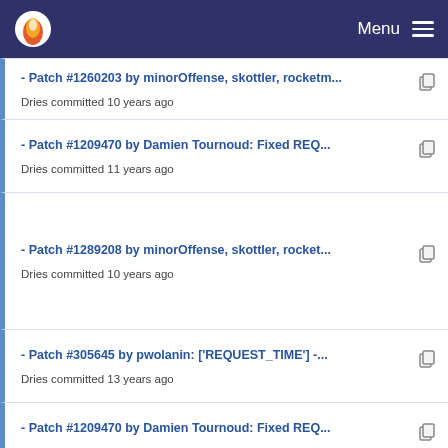Menu
- Patch #1260203 by minorOffense, skottler, rocketm...
Dries committed 10 years ago
- Patch #1209470 by Damien Tournoud: Fixed REQ...
Dries committed 11 years ago
- Patch #1289208 by minorOffense, skottler, rocket...
Dries committed 10 years ago
- Patch #305645 by pwolanin: ['REQUEST_TIME'] -...
Dries committed 13 years ago
- Patch #1209470 by Damien Tournoud: Fixed REQ...
Dries committed 11 years ago
- Patch #305645 by pwolanin: ['REQUEST_TIME'] -...
Dries committed 13 years ago
#242873 follow-up: Missed adding constants to bo...